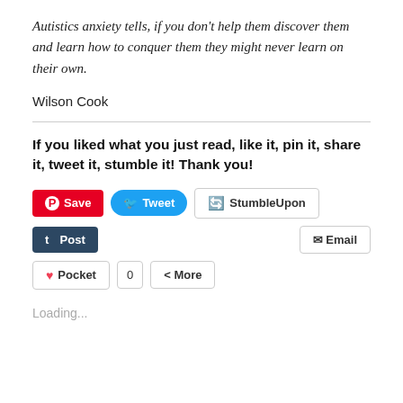Autistics anxiety tells, if you don't help them discover them and learn how to conquer them they might never learn on their own.
Wilson Cook
If you liked what you just read, like it, pin it, share it, tweet it, stumble it! Thank you!
[Figure (other): Social sharing buttons: Save (Pinterest), Tweet (Twitter), StumbleUpon, Post (Tumblr), Email, Pocket (with count 0), More]
Loading...